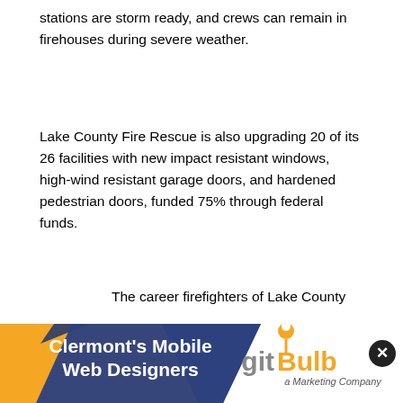stations are storm ready, and crews can remain in firehouses during severe weather.
Lake County Fire Rescue is also upgrading 20 of its 26 facilities with new impact resistant windows, high-wind resistant garage doors, and hardened pedestrian doors, funded 75% through federal funds.
The career firefighters of Lake County Fire Rescue protect county residents and visitors in an area covering approximately 1,200 square miles, with nearly 70,000 residences and up to 2,000 commercial properties. For up-to-date news on Lake County Fire Rescue, visit, www.facebook.com/LakeCountyFireRescue or www.twit
[Figure (infographic): Advertisement banner for gitBulb, a Marketing Company, featuring 'Clermont's Mobile Web Designers' text on an orange and dark blue angled background on the left, and the gitBulb logo on the right.]